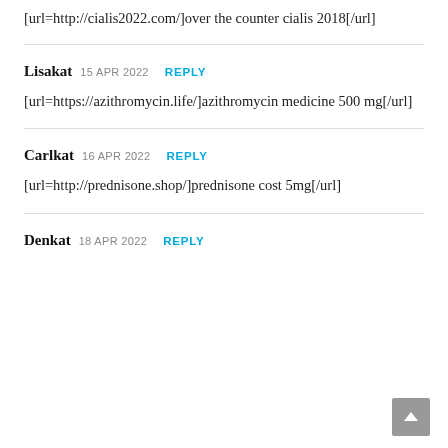[url=http://cialis2022.com/]over the counter cialis 2018[/url]
Lisakat 15 APR 2022 REPLY
[url=https://azithromycin.life/]azithromycin medicine 500 mg[/url]
Carlkat 16 APR 2022 REPLY
[url=http://prednisone.shop/]prednisone cost 5mg[/url]
Denkat 18 APR 2022 REPLY